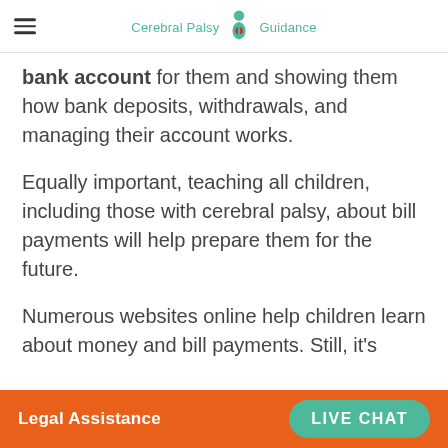Cerebral Palsy Guidance
bank account for them and showing them how bank deposits, withdrawals, and managing their account works.
Equally important, teaching all children, including those with cerebral palsy, about bill payments will help prepare them for the future.
Numerous websites online help children learn about money and bill payments. Still, it's
Legal Assistance   LIVE CHAT